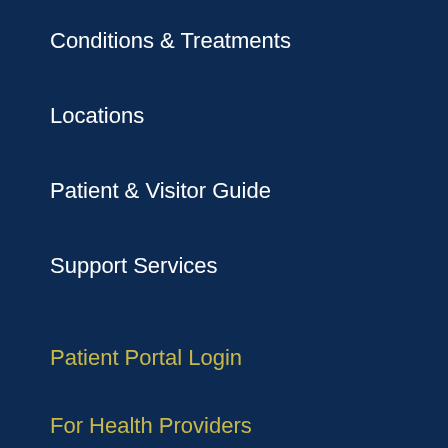Conditions & Treatments
Locations
Patient & Visitor Guide
Support Services
Patient Portal Login
For Health Providers
Maps & Directions
Contact Us
About Us
Make a Gift